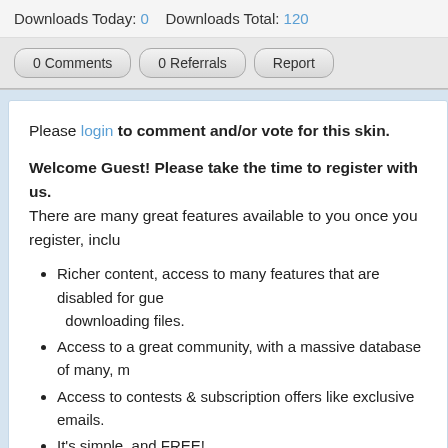Downloads Today: 0   Downloads Total: 120
0 Comments   0 Referrals   Report
Please login to comment and/or vote for this skin.
Welcome Guest! Please take the time to register with us.
There are many great features available to you once you register, inclu
Richer content, access to many features that are disabled for gue… downloading files.
Access to a great community, with a massive database of many, m
Access to contests & subscription offers like exclusive emails.
It's simple, and FREE!